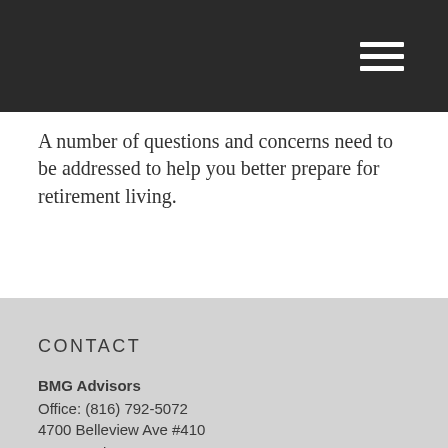A number of questions and concerns need to be addressed to help you better prepare for retirement living.
CONTACT
BMG Advisors
Office: (816) 792-5072
4700 Belleview Ave #410
Kansas City, MO 64112